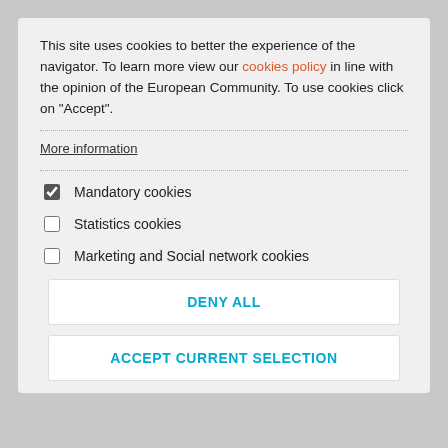This site uses cookies to better the experience of the navigator. To learn more view our cookies policy in line with the opinion of the European Community. To use cookies click on "Accept".
More information
Mandatory cookies
Statistics cookies
Marketing and Social network cookies
DENY ALL
ACCEPT CURRENT SELECTION